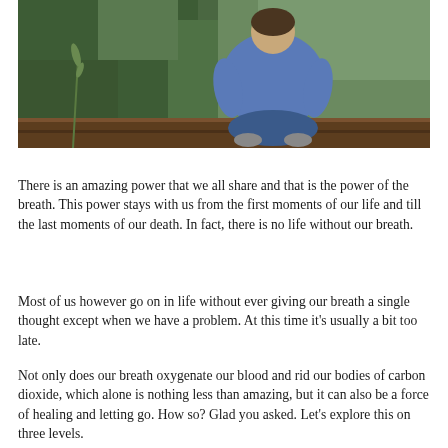[Figure (photo): A child sitting cross-legged on a wooden surface, viewed from behind, wearing a blue hoodie and jeans, with green foliage in the background.]
There is an amazing power that we all share and that is the power of the breath. This power stays with us from the first moments of our life and till the last moments of our death. In fact, there is no life without our breath.
Most of us however go on in life without ever giving our breath a single thought except when we have a problem. At this time it's usually a bit too late.
Not only does our breath oxygenate our blood and rid our bodies of carbon dioxide, which alone is nothing less than amazing, but it can also be a force of healing and letting go. How so? Glad you asked. Let's explore this on three levels.